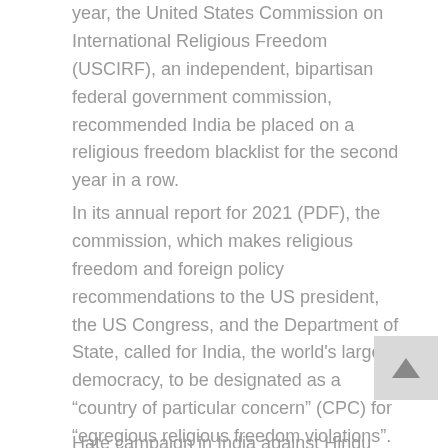year, the United States Commission on International Religious Freedom (USCIRF), an independent, bipartisan federal government commission, recommended India be placed on a religious freedom blacklist for the second year in a row.
In its annual report for 2021 (PDF), the commission, which makes religious freedom and foreign policy recommendations to the US president, the US Congress, and the Department of State, called for India, the world’s largest democracy, to be designated as a “country of particular concern” (CPC) for “egregious religious freedom violations”.
Hate campaign in India against Hindu...